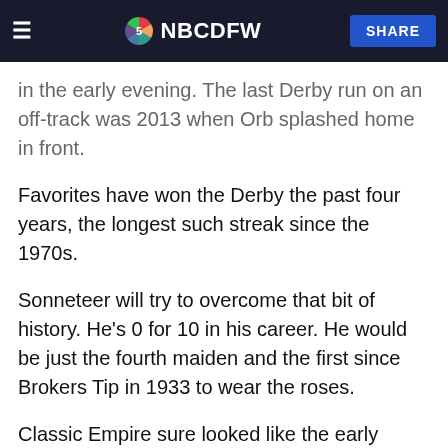NBC DFW — SHARE
in the early evening. The last Derby run on an off-track was 2013 when Orb splashed home in front.
Favorites have won the Derby the past four years, the longest such streak since the 1970s.
Sonneteer will try to overcome that bit of history. He's 0 for 10 in his career. He would be just the fourth maiden and the first since Brokers Tip in 1933 to wear the roses.
Classic Empire sure looked like the early Derby favorite last year when he won the Breeders' Cup Juvenile and was named 2-year-old champion. He made his 3-year-old debut with a third-place finish in the Holy Bull Stakes in February. Then came two more months off caused by hoof and back